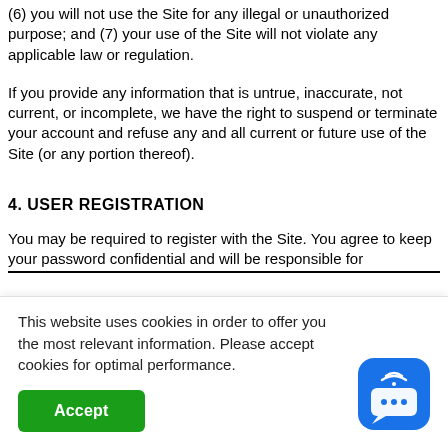(6) you will not use the Site for any illegal or unauthorized purpose; and (7) your use of the Site will not violate any applicable law or regulation.
If you provide any information that is untrue, inaccurate, not current, or incomplete, we have the right to suspend or terminate your account and refuse any and all current or future use of the Site (or any portion thereof).
4. USER REGISTRATION
You may be required to register with the Site. You agree to keep your password confidential and will be responsible for
This website uses cookies in order to offer you the most relevant information. Please accept cookies for optimal performance.
Accept